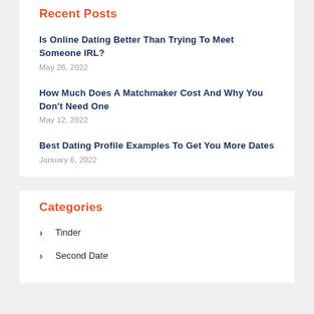Recent Posts
Is Online Dating Better Than Trying To Meet Someone IRL?
May 26, 2022
How Much Does A Matchmaker Cost And Why You Don't Need One
May 12, 2022
Best Dating Profile Examples To Get You More Dates
January 6, 2022
Categories
Tinder
Second Date